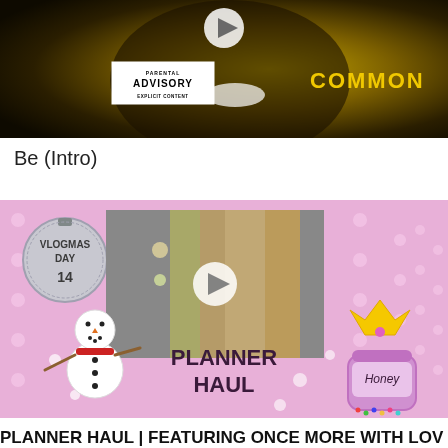[Figure (screenshot): YouTube video thumbnail showing Common album cover 'Be' with parental advisory label and golden background with artist's face]
Be (Intro)
[Figure (screenshot): YouTube video thumbnail for 'Vlogmas Day 14 Planner Haul' showing pink background with polka dots, snowman, ornament ball, inner video of planners, crown and honey jar decorations]
PLANNER HAUL | FEATURING ONCE MORE WITH LOV E AND BELICIOUSNESS AND PLAIN JANE STAMPS